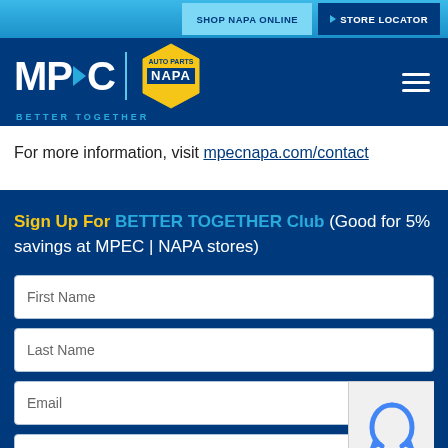SHOP NAPA ONLINE   STORE LOCATOR
[Figure (logo): MPEC NAPA BETTER TOGETHER logo on dark blue header with hamburger menu]
For more information, visit mpecnapa.com/contact
Sign Up For BETTER TOGETHER Club (Good for 5% savings at MPEC | NAPA stores)
First Name
Last Name
Email
Phone